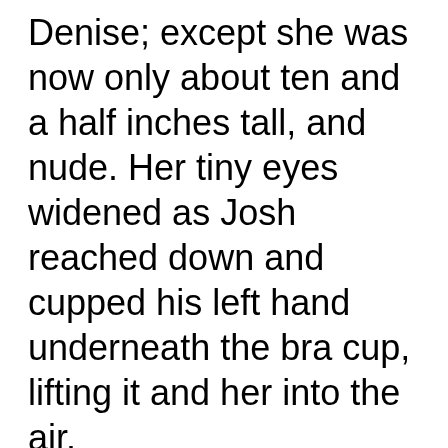Denise; except she was now only about ten and a half inches tall, and nude. Her tiny eyes widened as Josh reached down and cupped his left hand underneath the bra cup, lifting it and her into the air. “Josh!” she exclaimed, in a tiny, high-pitched squeaky voice, “I am so happy to see you, something terribly awful has happened to me! I was